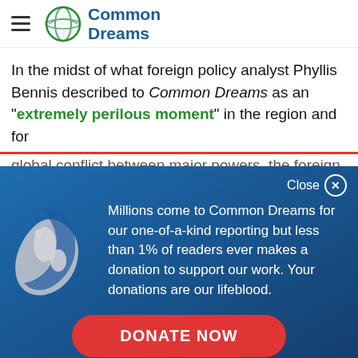Common Dreams
In the midst of what foreign policy analyst Phyllis Bennis described to Common Dreams as an "extremely perilous moment" in the region and for global conflict between major powers, the foreign
[Figure (screenshot): Donation overlay popup on Common Dreams website with globe icon, text about donations, and a DONATE NOW button]
Millions come to Common Dreams for our one-of-a-kind reporting but less than 1% of readers ever makes a donation to support our work. Your donations are our lifeblood.
DONATE NOW